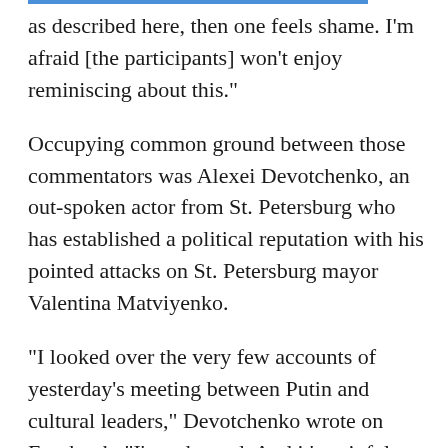as described here, then one feels shame. I'm afraid [the participants] won't enjoy reminiscing about this."
Occupying common ground between those commentators was Alexei Devotchenko, an out-spoken actor from St. Petersburg who has established a political reputation with his pointed attacks on St. Petersburg mayor Valentina Matviyenko.
"I looked over the very few accounts of yesterday's meeting between Putin and cultural leaders," Devotchenko wrote on Facebook. "I'm ashamed. And it's painful. But I have no moral right to judge those who were there, those whom I love and respect.